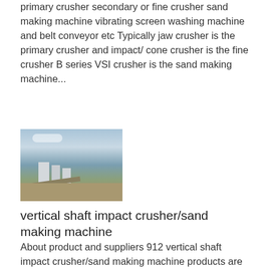primary crusher secondary or fine crusher sand making machine vibrating screen washing machine and belt conveyor etc Typically jaw crusher is the primary crusher and impact/ cone crusher is the fine crusher B series VSI crusher is the sand making machine...
Know More
[Figure (photo): Aerial view of an industrial stone crushing or sand making plant facility with silos, conveyor belts, and machinery in an open landscape under a cloudy sky.]
vertical shaft impact crusher/sand making machine
About product and suppliers 912 vertical shaft impact crusher/sand making machine products are offered for sale by suppliers on Alibaba of which sand making machinery